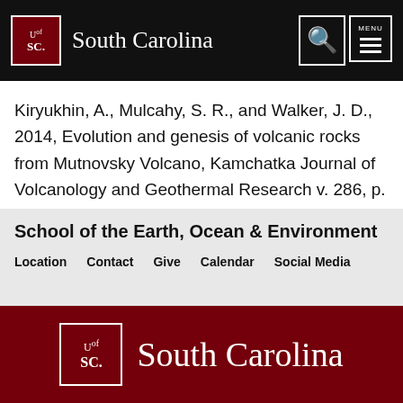University of South Carolina
Kiryukhin, A., Mulcahy, S. R., and Walker, J. D., 2014, Evolution and genesis of volcanic rocks from Mutnovsky Volcano, Kamchatka Journal of Volcanology and Geothermal Research v. 286, p. 116-137.
School of the Earth, Ocean & Environment
Location  Contact  Give  Calendar  Social Media
[Figure (logo): University of South Carolina logo on dark crimson background with text South Carolina]